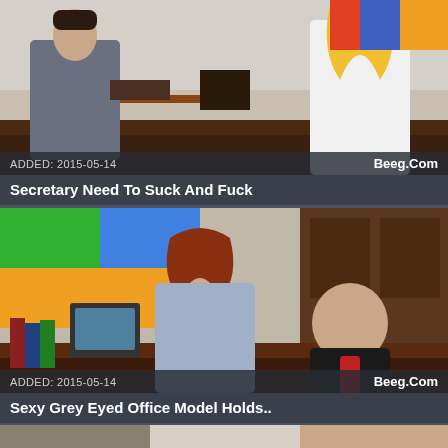[Figure (photo): Office scene with man in suit writing at desk and blonde woman in white top standing nearby]
ADDED: 2015-05-14    Beeg.Com
Secretary Need To Suck And Fuck
[Figure (photo): Office scene with redhead woman in blue shirt leaning toward bald man in black suit]
ADDED: 2015-05-14    Beeg.Com
Sexy Grey Eyed Office Model Holds..
[Figure (photo): Partial view of office scene with dark-haired woman]